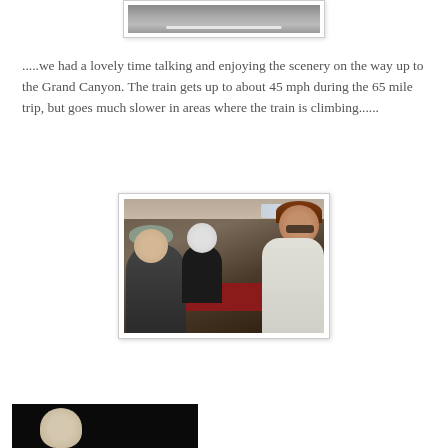[Figure (photo): Top portion of a photo showing a road or landscape scene, partially visible at the top of the page]
.....we had a lovely time talking and enjoying the scenery on the way up to the Grand Canyon.  The train gets up to about 45 mph during the 65 mile trip, but goes much slower in areas where the train is climbing......
[Figure (photo): Three people posing inside a train car with red seats. A man in a dark turtleneck with a grey beanie on the left, an older person with white hair in the middle, and a woman with sunglasses and brown hair on the right.]
[Figure (photo): Bottom portion of another photo showing a person, partially visible at the bottom of the page, with a dark background]